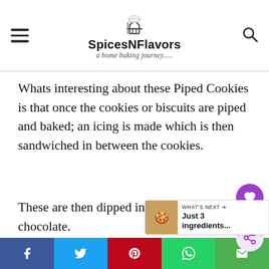SpicesNFlavors – a home baking journey.....
Whats interesting about these Piped Cookies is that once the cookies or biscuits are piped and baked; an icing is made which is then sandwiched in between the cookies.
These are then dipped into melted chocolate.
Social share bar: Facebook, Twitter, Pinterest, WhatsApp, Email